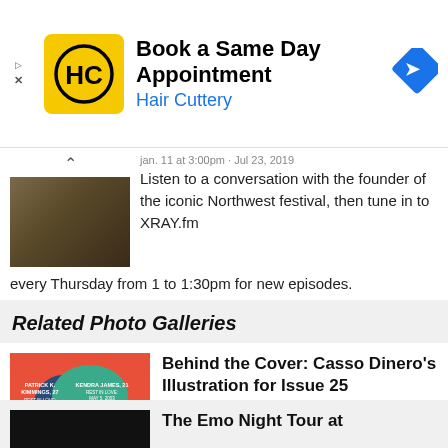[Figure (other): Hair Cuttery advertisement banner with yellow square logo showing HC letters, text 'Book a Same Day Appointment' and 'Hair Cuttery' in blue, blue diamond navigation icon on right]
Listen to a conversation with the founder of the iconic Northwest festival, then tune in to XRAY.fm every Thursday from 1 to 1:30pm for new episodes.
Related Photo Galleries
[Figure (illustration): Colorful illustration with overlapping speech bubbles in red, teal, and yellow containing text about Patrick K. Kimmings, Kendra James, Quavice Hayes, Jason Washington with dates]
Behind the Cover: Casso Dinero's Illustration for Issue 25
January 12, 2021 10:00am
Music—like all art—requires inspiration. Too often, for Black artists, that inspiration is our lives.
The Emo Night Tour at